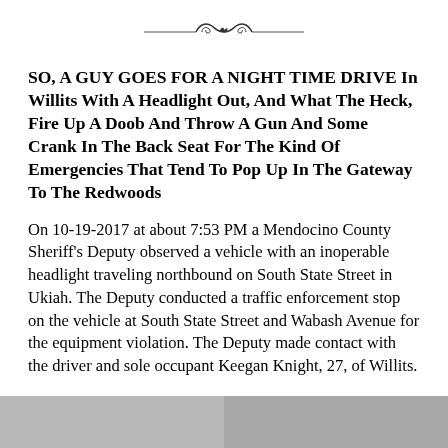[Figure (illustration): Decorative ornamental divider with scroll/flourish design centered at the top of the page]
SO, A GUY GOES FOR A NIGHT TIME DRIVE In Willits With A Headlight Out, And What The Heck, Fire Up A Doob And Throw A Gun And Some Crank In The Back Seat For The Kind Of Emergencies That Tend To Pop Up In The Gateway To The Redwoods
On 10-19-2017 at about 7:53 PM a Mendocino County Sheriff’s Deputy observed a vehicle with an inoperable headlight traveling northbound on South State Street in Ukiah. The Deputy conducted a traffic enforcement stop on the vehicle at South State Street and Wabash Avenue for the equipment violation. The Deputy made contact with the driver and sole occupant Keegan Knight, 27, of Willits.
[Figure (photo): Partial photograph visible at the bottom of the page, showing a gray/muted image split into two sections]